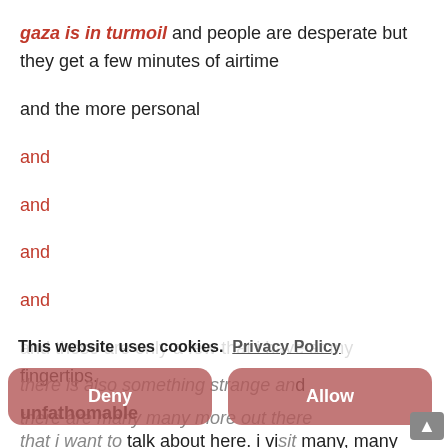gaza is in turmoil and people are desperate but they get a few minutes of airtime
and the more personal
and
and
and
and
and these are only a few that i have at my fingertips.
there are many many more out there
This website uses cookies. Privacy Policy
there is also something strange and unfathomable that i want to talk about here. i visit many, many blogs. some personal, some political, all well-written, informative and interesting. on probably 95% of